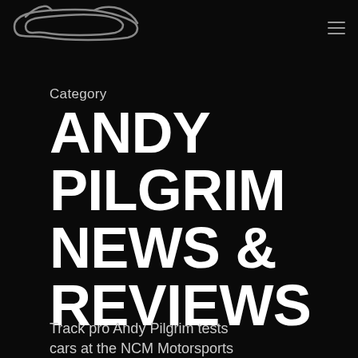[Figure (logo): Race track outline logo in light grey on black background]
Category
ANDY PILGRIM NEWS & REVIEWS
Track pro Andy Pilgrim tests cars at the NCM Motorsports